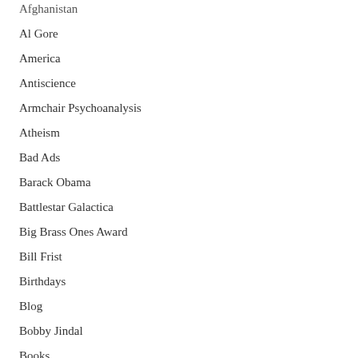Afghanistan
Al Gore
America
Antiscience
Armchair Psychoanalysis
Atheism
Bad Ads
Barack Obama
Battlestar Galactica
Big Brass Ones Award
Bill Frist
Birthdays
Blog
Bobby Jindal
Books